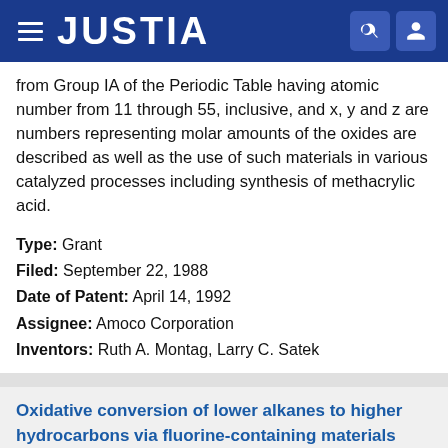JUSTIA
from Group IA of the Periodic Table having atomic number from 11 through 55, inclusive, and x, y and z are numbers representing molar amounts of the oxides are described as well as the use of such materials in various catalyzed processes including synthesis of methacrylic acid.
Type: Grant
Filed: September 22, 1988
Date of Patent: April 14, 1992
Assignee: Amoco Corporation
Inventors: Ruth A. Montag, Larry C. Satek
Oxidative conversion of lower alkanes to higher hydrocarbons via fluorine-containing materials
Patent number: 5105046
Abstract: A method for converting lower alkanes to a higher molecular weight hydrocarbon using a contact